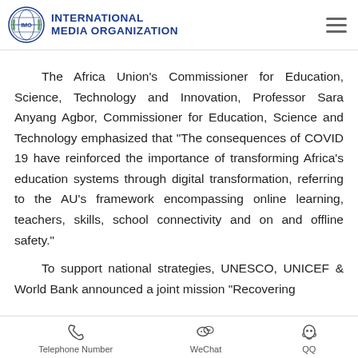INTERNATIONAL MEDIA ORGANIZATION
The Africa Union's Commissioner for Education, Science, Technology and Innovation, Professor Sara Anyang Agbor, Commissioner for Education, Science and Technology emphasized that “The consequences of COVID 19 have reinforced the importance of transforming Africa’s education systems through digital transformation, referring to the AU’s framework encompassing online learning, teachers, skills, school connectivity and on and offline safety.”
To support national strategies, UNESCO, UNICEF & World Bank announced a joint mission “Recovering
Telephone Number | WeChat | QQ